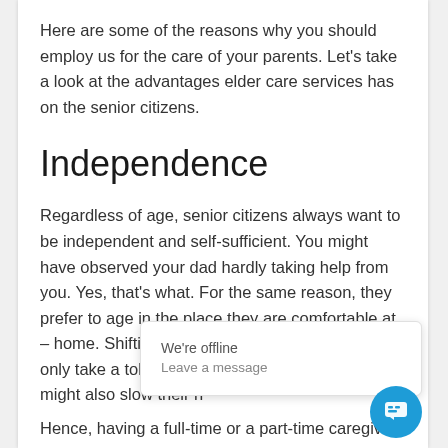Here are some of the reasons why you should employ us for the care of your parents. Let's take a look at the advantages elder care services has on the senior citizens.
Independence
Regardless of age, senior citizens always want to be independent and self-sufficient. You might have observed your dad hardly taking help from you. Yes, that's what. For the same reason, they prefer to age in the place they are comfortable at – home. Shifting into an assisted living center will only take a toll on their mental health. Further, it might also slow their h
We're offline
Leave a message
Hence, having a full-time or a part-time caregiver